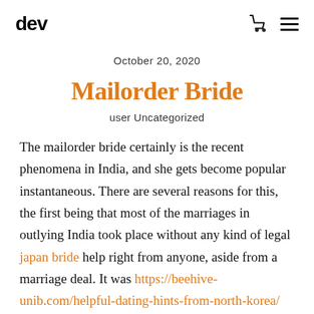dev
October 20, 2020
Mailorder Bride
user Uncategorized
The mailorder bride certainly is the recent phenomena in India, and she gets become popular instantaneous. There are several reasons for this, the first being that most of the marriages in outlying India took place without any kind of legal japan bride help right from anyone, aside from a marriage deal. It was https://beehive-unib.com/helpful-dating-hints-from-north-korea/ either the bride seen her